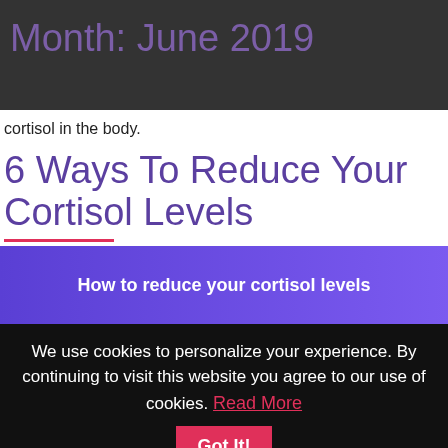Month: June 2019
cortisol in the body.
6 Ways To Reduce Your Cortisol Levels
[Figure (photo): How to reduce your cortisol levels - banner image with purple gradient background and white text]
We use cookies to personalize your experience. By continuing to visit this website you agree to our use of cookies. Read More  Got It!